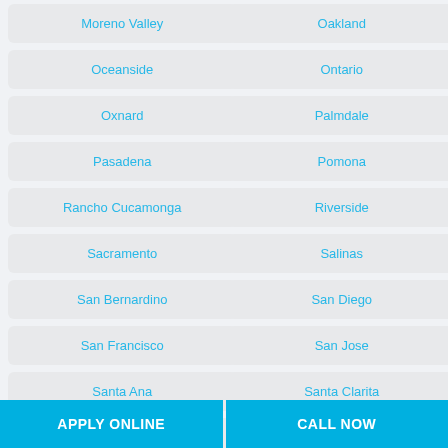Moreno Valley
Oakland
Oceanside
Ontario
Oxnard
Palmdale
Pasadena
Pomona
Rancho Cucamonga
Riverside
Sacramento
Salinas
San Bernardino
San Diego
San Francisco
San Jose
Santa Ana
Santa Clarita
Santa Rosa
Stockton
Sunnyvale
Torrance
APPLY ONLINE | CALL NOW